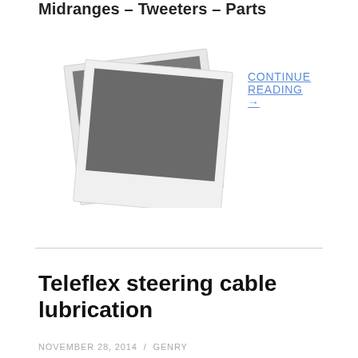Midranges – Tweeters – Parts
CONTINUE READING →
[Figure (photo): Placeholder image showing two overlapping polaroid-style photo frames with dark gray content area, slightly rotated]
Teleflex steering cable lubrication
NOVEMBER 28, 2014 / GENRY